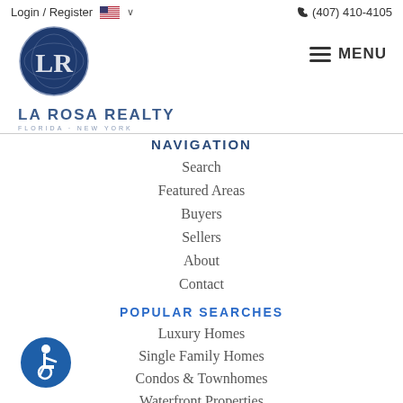Login / Register   🇺🇸 ∨   (407) 410-4105
[Figure (logo): La Rosa Realty circular logo with stylized LR letters in dark navy blue, with text LA ROSA REALTY below and FLORIDA · NEW YORK in smaller text]
≡ MENU
NAVIGATION
Search
Featured Areas
Buyers
Sellers
About
Contact
POPULAR SEARCHES
Luxury Homes
Single Family Homes
Condos & Townhomes
Waterfront Properties
[Figure (illustration): Blue circular accessibility icon showing a person in a wheelchair]